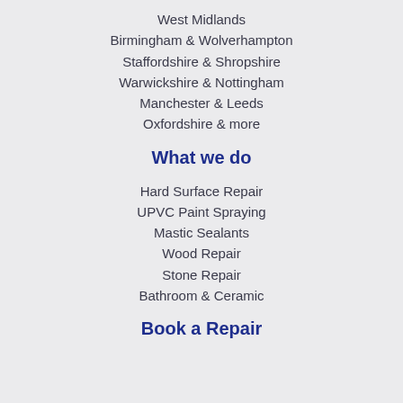West Midlands
Birmingham & Wolverhampton
Staffordshire & Shropshire
Warwickshire & Nottingham
Manchester & Leeds
Oxfordshire & more
What we do
Hard Surface Repair
UPVC Paint Spraying
Mastic Sealants
Wood Repair
Stone Repair
Bathroom & Ceramic
Book a Repair